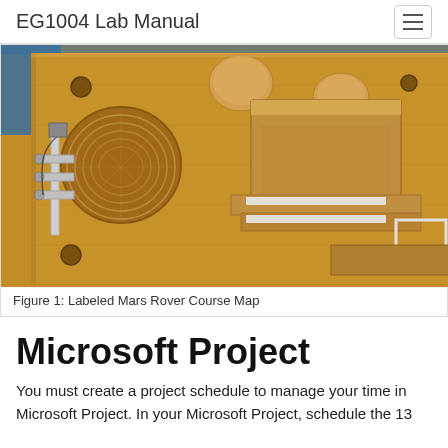EG1004 Lab Manual
[Figure (photo): Photograph of a wooden Mars Rover Course Map board with various carved features including circular depressions, dome-shaped obstacles, rectangular platforms with white strips (ramps), and a robotic arm mechanism on the left side, set on a wooden surface.]
Figure 1: Labeled Mars Rover Course Map
Microsoft Project
You must create a project schedule to manage your time in Microsoft Project. In your Microsoft Project, schedule the 13...